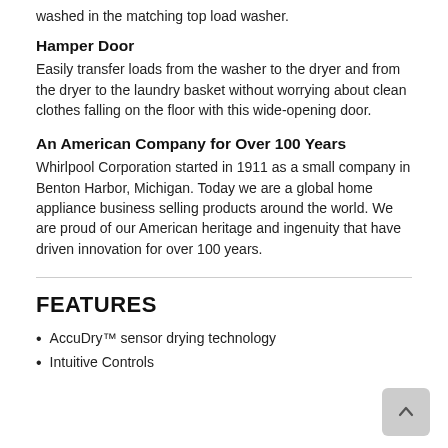washed in the matching top load washer.
Hamper Door
Easily transfer loads from the washer to the dryer and from the dryer to the laundry basket without worrying about clean clothes falling on the floor with this wide-opening door.
An American Company for Over 100 Years
Whirlpool Corporation started in 1911 as a small company in Benton Harbor, Michigan. Today we are a global home appliance business selling products around the world. We are proud of our American heritage and ingenuity that have driven innovation for over 100 years.
FEATURES
AccuDry™ sensor drying technology
Intuitive Controls